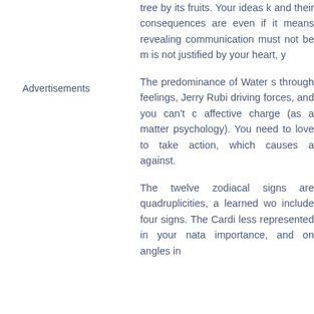tree by its fruits. Your ideas k and their consequences are  even if it means revealing  communication must not be m is not justified by your heart, y
Advertisements
The predominance of Water s through feelings, Jerry Rubi driving forces, and you can't c affective charge (as a matter  psychology). You need to love to take action, which causes a against.
The twelve zodiacal signs are quadruplicities, a learned wo include four signs. The Cardi less represented in your nata importance, and on angles in